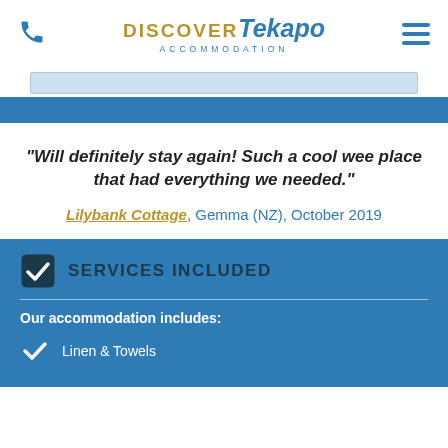Discover Tekapo Accommodation
"Will definitely stay again! Such a cool wee place that had everything we needed."
Lilybank Cottage, Gemma (NZ), October 2019
SERVICES INCLUDED
Our accommodation includes:
Linen & Towels